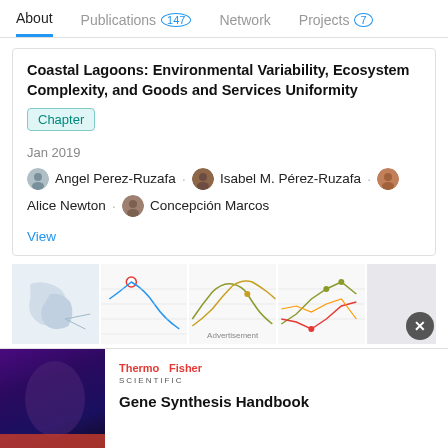About  Publications 147  Network  Projects 7
Coastal Lagoons: Environmental Variability, Ecosystem Complexity, and Goods and Services Uniformity
Chapter
Jan 2019
Angel Perez-Ruzafa · Isabel M. Pérez-Ruzafa · Alice Newton · Concepción Marcos
View
[Figure (other): Strip of five thumbnail charts/figures from the publication, with an Advertisement overlay text]
[Figure (other): Advertisement banner: ThermoFisher Scientific logo and Gene Synthesis Handbook text with a dark purple promotional image on the left]
Gene Synthesis Handbook